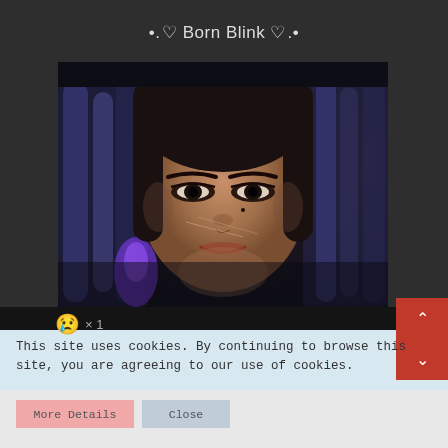•. ♡ Born Blink ♡ .•
[Figure (photo): Close-up portrait of a young woman with dark hair styled in braids with blue/purple fabric, intense gaze, subtle makeup with drawn lines on cheeks, dark moody background]
😢 × 1
This site uses cookies. By continuing to browse this site, you are agreeing to our use of cookies.
More Details   Close